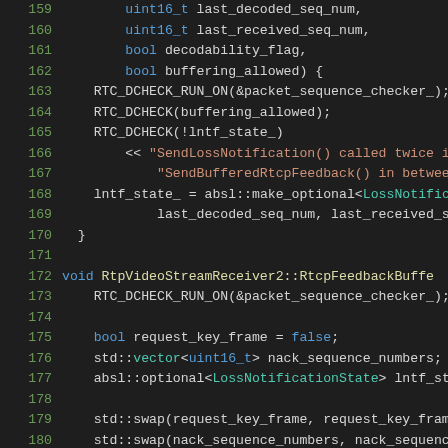[Figure (screenshot): Source code screenshot showing C++ code lines 159-180 from a WebRTC-related file. Dark background IDE theme with syntax highlighting. Shows RtpVideoStreamReceiver2 class methods including SendLossNotification and RtcpFeedbackBuffer functions.]